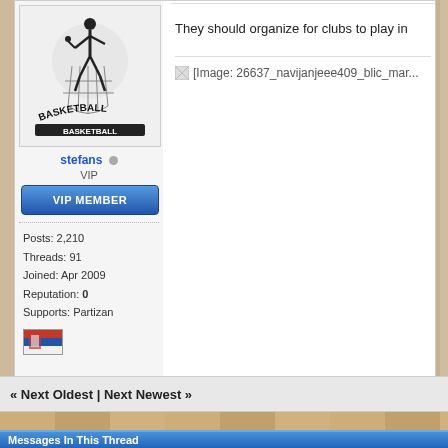[Figure (illustration): Basketball player silhouette with BASKETBALL text logo, black and white graphic]
stefans [online indicator] VIP
[Figure (other): VIP MEMBER blue button]
Posts: 2,210
Threads: 91
Joined: Apr 2009
Reputation: 0
Supports: Partizan
[Figure (other): Serbian flag icon]
They should organize for clubs to play in
[Figure (other): [Image: 26637_navijanjeee409_blic_mar...]]
« Next Oldest | Next Newest »
Messages In This Thread